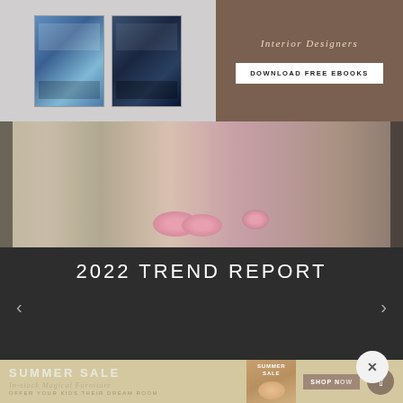[Figure (screenshot): Two decorative art books/canvases shown on a grey background]
[Figure (screenshot): Brown promotional banner with italic text 'Interior Designers' and a white 'DOWNLOAD FREE EBOOKS' button]
[Figure (photo): Luxury bedroom interior with pink velvet pouf ottomans on a beige floor, gold furniture visible]
2022 TREND REPORT
[Figure (screenshot): Dark slideshow panel with navigation arrows left and right, and a close (x) button]
[Figure (screenshot): Summer Sale promotional banner with tan/beige background showing a book cover image and 'SHOP NOW' button with scroll-up button]